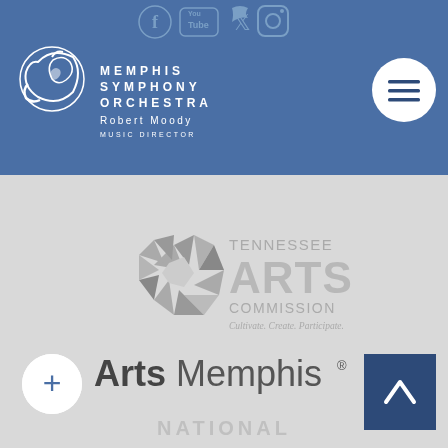[Figure (logo): Memphis Symphony Orchestra logo with horn graphic, text MEMPHIS SYMPHONY ORCHESTRA, Robert Moody MUSIC DIRECTOR in white on blue header bar]
[Figure (logo): Social media icons row: Facebook, YouTube, Twitter, Instagram icons in blue header]
[Figure (logo): Hamburger menu button (white circle with three horizontal lines) in top right of blue header]
[Figure (logo): Tennessee Arts Commission logo with geometric starburst in gray and text TENNESSEE ARTS COMMISSION, Cultivate. Create. Participate.]
[Figure (logo): ArtsMemphis logo with bold Arts and regular Memphis text plus registered trademark symbol]
[Figure (logo): NATIONAL text partially visible at bottom in light gray]
[Figure (other): Plus button (white circle with blue plus sign) at bottom left]
[Figure (other): Up arrow navigation button (dark blue square with white chevron) at bottom right]